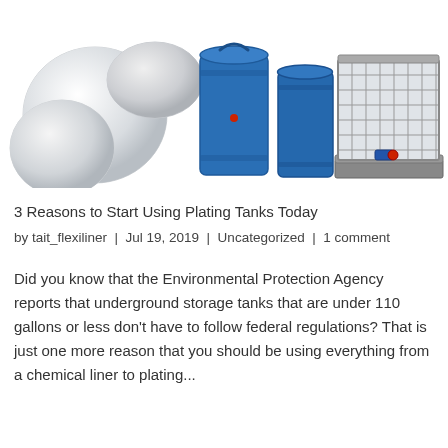[Figure (photo): Photo of various industrial storage tanks and containers: white spherical tanks on left, blue barrels/drums in center, and a large grey IBC (Intermediate Bulk Container) cage tank on right, on a white background]
3 Reasons to Start Using Plating Tanks Today
by tait_flexiliner | Jul 19, 2019 | Uncategorized | 1 comment
Did you know that the Environmental Protection Agency reports that underground storage tanks that are under 110 gallons or less don't have to follow federal regulations? That is just one more reason that you should be using everything from a chemical liner to plating...